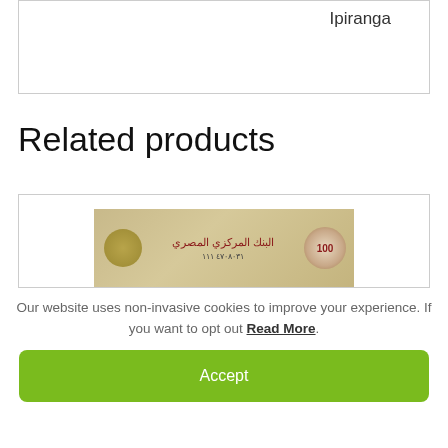Ipiranga
Related products
[Figure (photo): A banknote (Egyptian pound or similar) shown partially, with Arabic text, serial numbers, and circular emblems on a yellowish-tan background.]
Our website uses non-invasive cookies to improve your experience. If you want to opt out Read More.
Accept